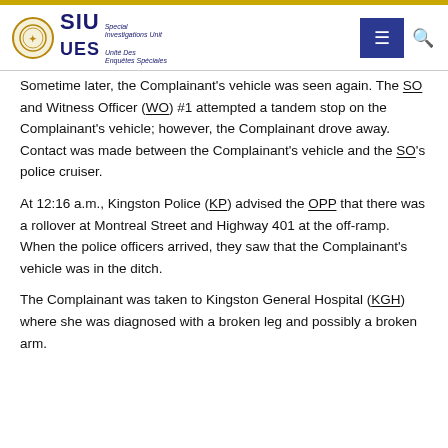SIU UES Special Investigations Unit / Unité Des Enquêtes Spéciales
Sometime later, the Complainant's vehicle was seen again. The SO and Witness Officer (WO) #1 attempted a tandem stop on the Complainant's vehicle; however, the Complainant drove away. Contact was made between the Complainant's vehicle and the SO's police cruiser.
At 12:16 a.m., Kingston Police (KP) advised the OPP that there was a rollover at Montreal Street and Highway 401 at the off-ramp. When the police officers arrived, they saw that the Complainant's vehicle was in the ditch.
The Complainant was taken to Kingston General Hospital (KGH) where she was diagnosed with a broken leg and possibly a broken arm.